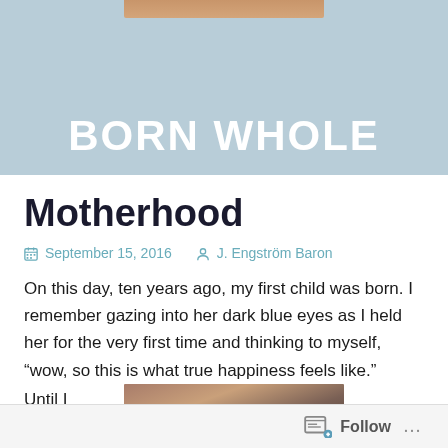[Figure (illustration): Blog header banner with light blue background and the site title 'BORN WHOLE' in white bold uppercase text. A small brownish image strip appears at the top center.]
Motherhood
September 15, 2016   J. Engström Baron
On this day, ten years ago, my first child was born. I remember gazing into her dark blue eyes as I held her for the very first time and thinking to myself, "wow, so this is what true happiness feels like."
Until I
[Figure (photo): Partial photo of a person's head/face with brown hair, partially visible on right side of the page.]